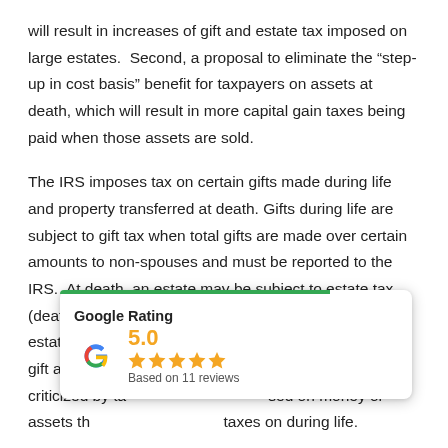will result in increases of gift and estate tax imposed on large estates. Second, a proposal to eliminate the “step-up in cost basis” benefit for taxpayers on assets at death, which will result in more capital gain taxes being paid when those assets are sold.
The IRS imposes tax on certain gifts made during life and property transferred at death. Gifts during life are subject to gift tax when total gifts are made over certain amounts to non-spouses and must be reported to the IRS. At death, an estate may be subject to estate tax (death tax) if the date of death value of the taxable estate exceeds limits set by the government for lifetime gift and estate tax e[xemptions. The estate tax has been] s heavily criticized by ta[xpayers, as it is a tax impo]sed on money or assets th[at were already subject to] taxes on during life.
[Figure (other): Google Rating popup overlay showing 5.0 rating based on 11 reviews with 5 orange stars and Google G logo]
The Tax Cuts and Jobs Act of 2017 (“TCJA”) temporarily